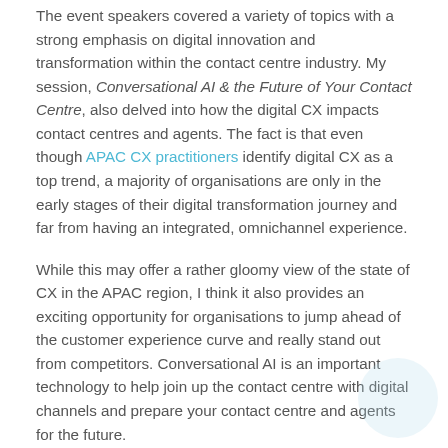The event speakers covered a variety of topics with a strong emphasis on digital innovation and transformation within the contact centre industry. My session, Conversational AI & the Future of Your Contact Centre, also delved into how the digital CX impacts contact centres and agents. The fact is that even though APAC CX practitioners identify digital CX as a top trend, a majority of organisations are only in the early stages of their digital transformation journey and far from having an integrated, omnichannel experience.
While this may offer a rather gloomy view of the state of CX in the APAC region, I think it also provides an exciting opportunity for organisations to jump ahead of the customer experience curve and really stand out from competitors. Conversational AI is an important technology to help join up the contact centre with digital channels and prepare your contact centre and agents for the future.